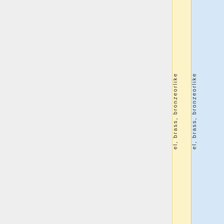| el, brass, bronzeorlike | el, brass, bronzeorlike |